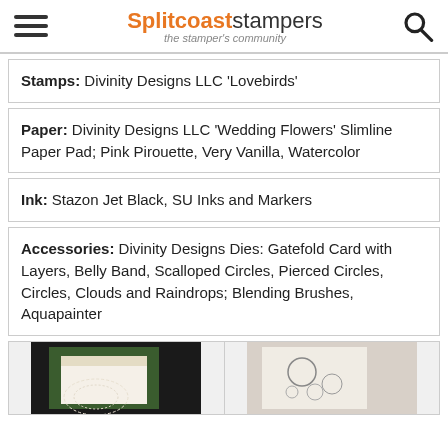Splitcoaststampers — the stamper's community
Stamps: Divinity Designs LLC 'Lovebirds'
Paper: Divinity Designs LLC 'Wedding Flowers' Slimline Paper Pad; Pink Pirouette, Very Vanilla, Watercolor
Ink: Stazon Jet Black, SU Inks and Markers
Accessories: Divinity Designs Dies: Gatefold Card with Layers, Belly Band, Scalloped Circles, Pierced Circles, Circles, Clouds and Raindrops; Blending Brushes, Aquapainter
[Figure (photo): Two small card craft photos at bottom of page]